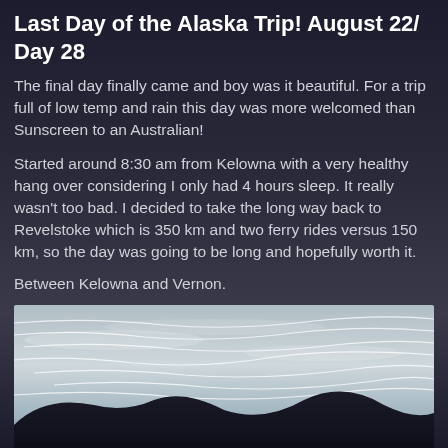Last Day of the Alaska Trip! August 22/ Day 28
The final day finally came and boy was it beautiful. For a trip full of low temp and rain this day was more welcomed than Sunscreen to an Australian!
Started around 8:30 am from Kelowna with a very healthy hang over considering I only had 4 hours sleep. It really wasn't too bad. I decided to take the long way back to Revelstoke which is 350 km and two ferry rides versus 150 km, so the day was going to be long and hopefully worth it.
Between Kelowna and Vernon.
[Figure (photo): Landscape photo showing sky with wispy cirrus clouds and dark mountain silhouettes along the bottom, taken between Kelowna and Vernon.]